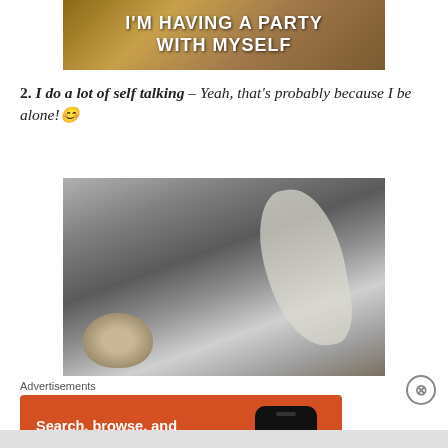[Figure (photo): Top portion of a meme image showing text 'I'M HAVING A PARTY WITH MYSELF' on a wooden background]
2. I do a lot of self talking – Yeah, that's probably because I be alone! 😊
[Figure (photo): Black and white or grainy photo of a cat looking up at a door handle or lever]
Advertisements
[Figure (screenshot): DuckDuckGo advertisement banner with orange background. Text: 'Search, browse, and email with more privacy. All in One Free App' with a phone showing DuckDuckGo logo.]